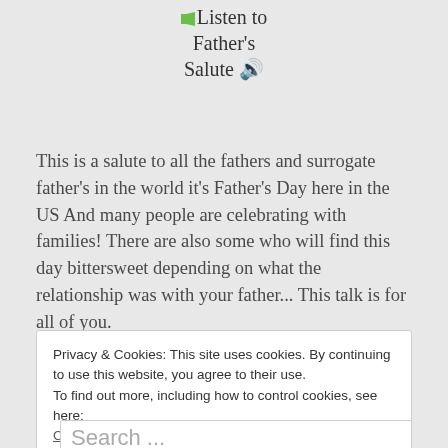Listen to Father's Salute 🔊
This is a salute to all the fathers and surrogate father's in the world it's Father's Day here in the US And many people are celebrating with families! There are also some who will find this day bittersweet depending on what the relationship was with your father... This talk is for all of you. •...
Privacy & Cookies: This site uses cookies. By continuing to use this website, you agree to their use.
To find out more, including how to control cookies, see here:
Cookie Policy
Close and accept
Search ...